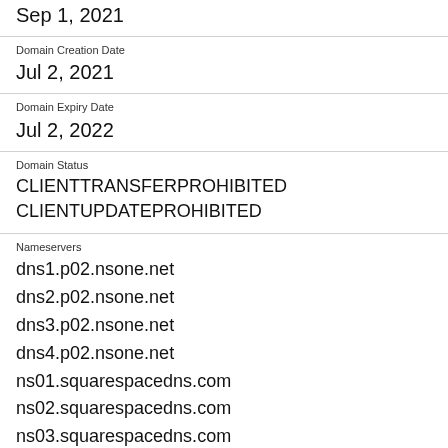Sep 1, 2021
Domain Creation Date
Jul 2, 2021
Domain Expiry Date
Jul 2, 2022
Domain Status
CLIENTTRANSFERPROHIBITED
CLIENTUPDATEPROHIBITED
Nameservers
dns1.p02.nsone.net
dns2.p02.nsone.net
dns3.p02.nsone.net
dns4.p02.nsone.net
ns01.squarespacedns.com
ns02.squarespacedns.com
ns03.squarespacedns.com